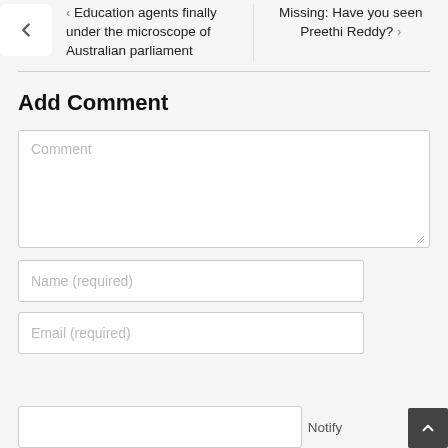Education agents finally under the microscope of Australian parliament
Missing: Have you seen Preethi Reddy?
Add Comment
Comment
Name (required)
Email (required)
Notify